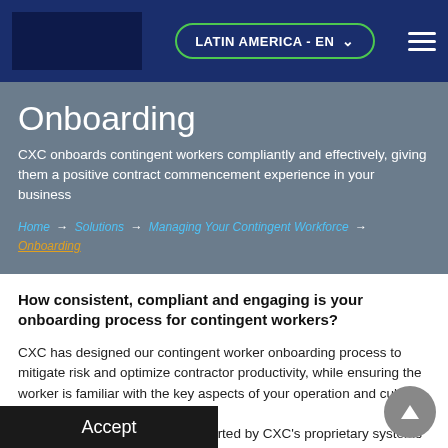LATIN AMERICA - EN
Onboarding
CXC onboards contingent workers compliantly and effectively, giving them a positive contract commencement experience in your business
Home → Solutions → Managing Your Contingent Workforce → Onboarding
How consistent, compliant and engaging is your onboarding process for contingent workers?
CXC has designed our contingent worker onboarding process to mitigate risk and optimize contractor productivity, while ensuring the worker is familiar with the key aspects of your operation and culture.
The onboarding process is supported by CXC's proprietary systems and backed by a rigorous